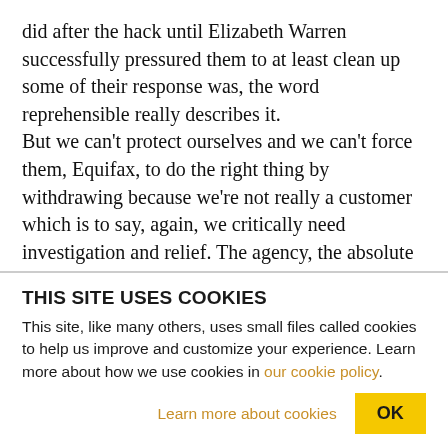did after the hack until Elizabeth Warren successfully pressured them to at least clean up some of their response was, the word reprehensible really describes it. But we can't protect ourselves and we can't force them, Equifax, to do the right thing by withdrawing because we're not really a customer which is to say, again, we critically need investigation and relief. The agency, the absolute agency in the entire world best situated to do the investigation and produce an effective remedy is the CFPB, and that is precisely
THIS SITE USES COOKIES
This site, like many others, uses small files called cookies to help us improve and customize your experience. Learn more about how we use cookies in our cookie policy.
Learn more about cookies   OK